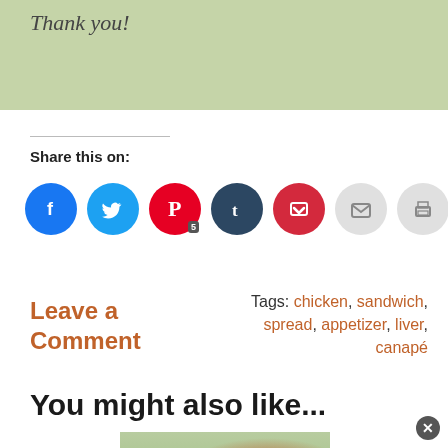[Figure (photo): Green textured background box with italic text 'Thank you!']
Share this on:
[Figure (infographic): Row of social sharing icon buttons: Facebook (blue), Twitter (cyan), Pinterest (red with badge '5'), Tumblr (dark blue), Pocket (red), Email (grey), Print (grey)]
Leave a Comment
Tags: chicken, sandwich, spread, appetizer, liver, canapé
You might also like...
[Figure (photo): Food photo showing lettuce wraps or salad with a sauce bottle in background]